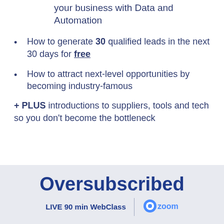your business with Data and Automation
How to generate 30 qualified leads in the next 30 days for free
How to attract next-level opportunities by becoming industry-famous
+ PLUS introductions to suppliers, tools and tech so you don't become the bottleneck
Oversubscribed
LIVE 90 min WebClass